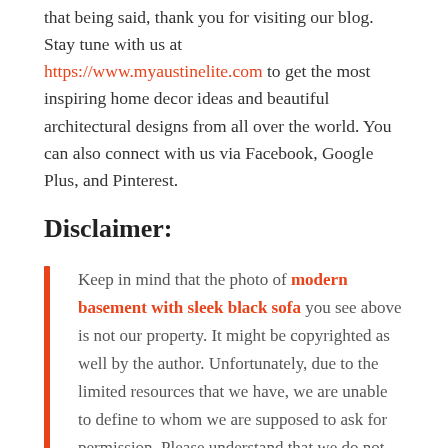that being said, thank you for visiting our blog. Stay tune with us at https://www.myaustinelite.com to get the most inspiring home decor ideas and beautiful architectural designs from all over the world. You can also connect with us via Facebook, Google Plus, and Pinterest.
Disclaimer:
Keep in mind that the photo of modern basement with sleek black sofa you see above is not our property. It might be copyrighted as well by the author. Unfortunately, due to the limited resources that we have, we are unable to define to whom we are supposed to ask for permission. Please understand that we do not have any intention to violate any copyrights. If some of you happen to be unhappy with us for uploading the image on our blog, do remind us